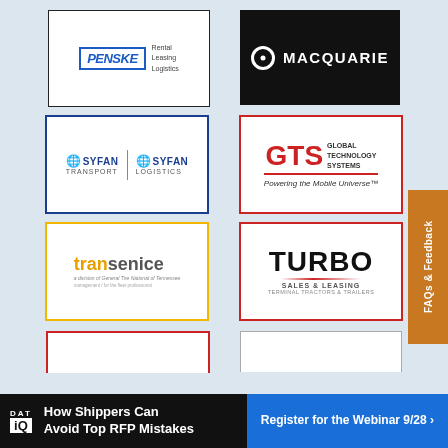[Figure (logo): Penske Rental Leasing Logistics logo in blue border box]
[Figure (logo): Macquarie logo on black background with circle icon]
[Figure (logo): Syfan Transport | Syfan Logistics logo in blue border]
[Figure (logo): GTS Global Technology Systems - Powering the Mobile Universe logo in red border]
[Figure (logo): TranService logo in yellow border]
[Figure (logo): Turbo Sales & Leasing logo in red border]
[Figure (logo): Partial logo box with red border (bottom, partially visible)]
[Figure (logo): Partial logo box with gray border (bottom, partially visible)]
FAQs & Feedback
How Shippers Can Avoid Top RFP Mistakes
Register for the Webinar 9/28 >